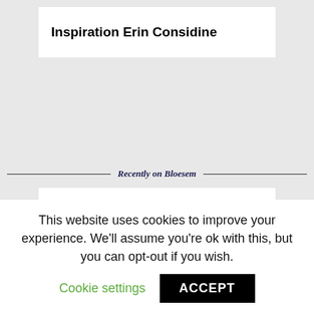Inspiration Erin Considine
Recently on Bloesem
[Figure (other): White card placeholder below 'Recently on Bloesem' section header]
This website uses cookies to improve your experience. We'll assume you're ok with this, but you can opt-out if you wish.
Cookie settings
ACCEPT